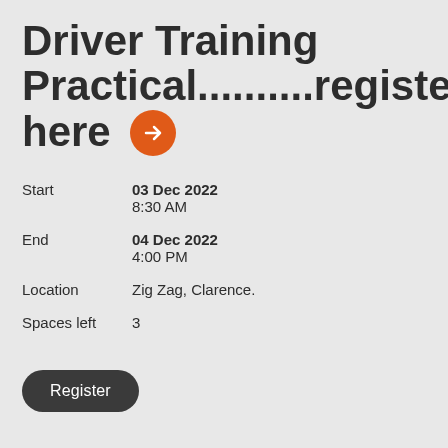Driver Training Practical..........register here →
Start
03 Dec 2022
8:30 AM
End
04 Dec 2022
4:00 PM
Location
Zig Zag, Clarence.
Spaces left
3
Register